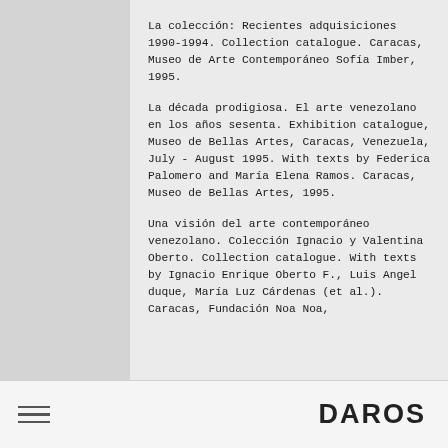La colección: Recientes adquisiciones 1990-1994. Collection catalogue. Caracas, Museo de Arte Contemporáneo Sofía Imber, 1995.
La década prodigiosa. El arte venezolano en los años sesenta. Exhibition catalogue, Museo de Bellas Artes, Caracas, Venezuela, July - August 1995. With texts by Federica Palomero and María Elena Ramos. Caracas, Museo de Bellas Artes, 1995.
Una visión del arte contemporáneo venezolano. Colección Ignacio y Valentina Oberto. Collection catalogue. With texts by Ignacio Enrique Oberto F., Luis Angel duque, María Luz Cárdenas (et al.). Caracas, Fundación Noa Noa,
DAROS